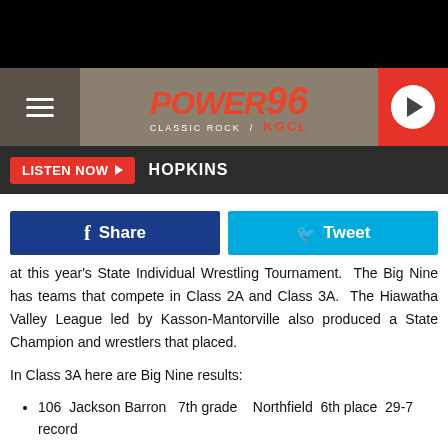[Figure (logo): Power 96 Classic Rock KGCL radio station logo in red and white on tan/khaki header bar with hamburger menu icon on left and play button on right]
LISTEN NOW ▶  HOPKINS
f  Share
🐦  Tweet
at this year's State Individual Wrestling Tournament.  The Big Nine has teams that compete in Class 2A and Class 3A.  The Hiawatha Valley League led by Kasson-Mantorville also produced a State Champion and wrestlers that placed.
In Class 3A here are Big Nine results:
106  Jackson Barron   7th grade    Northfield  6th place  29-7 record
113  JT Hausen        9th grade    Faribault   Qualified